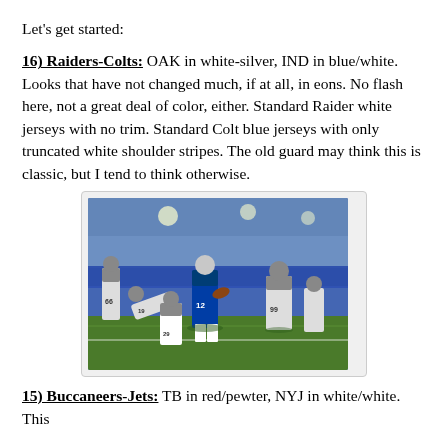Let's get started:
16) Raiders-Colts: OAK in white-silver, IND in blue/white. Looks that have not changed much, if at all, in eons. No flash here, not a great deal of color, either. Standard Raider white jerseys with no trim. Standard Colt blue jerseys with only truncated white shoulder stripes. The old guard may think this is classic, but I tend to think otherwise.
[Figure (photo): Raiders vs Colts football game photo showing a Colts player #12 running with the ball while Raiders defenders #29, #66, and #99 attempt to tackle him on an indoor football field.]
15) Buccaneers-Jets: TB in red/pewter, NYJ in white/white. This